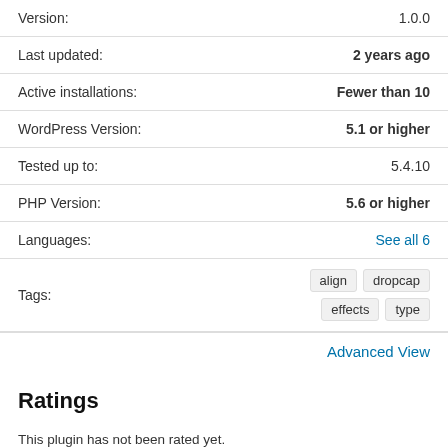| Label | Value |
| --- | --- |
| Version: | 1.0.0 |
| Last updated: | 2 years ago |
| Active installations: | Fewer than 10 |
| WordPress Version: | 5.1 or higher |
| Tested up to: | 5.4.10 |
| PHP Version: | 5.6 or higher |
| Languages: | See all 6 |
| Tags: | align  dropcap  effects  type |
Advanced View
Ratings
This plugin has not been rated yet.